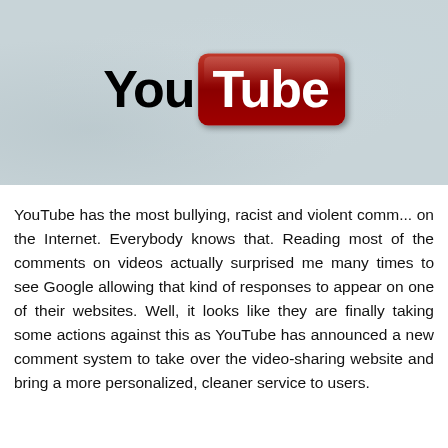[Figure (logo): YouTube logo on a light blue-grey textured background. The word 'You' is in black bold text and 'Tube' is in white bold text inside a red rounded rectangle.]
YouTube has the most bullying, racist and violent comments on the Internet. Everybody knows that. Reading most of the comments on videos actually surprised me many times to see Google allowing that kind of responses to appear on one of their websites. Well, it looks like they are finally taking some actions against this as YouTube has announced a new comment system to take over the video-sharing website and bring a more personalized, cleaner service to users.